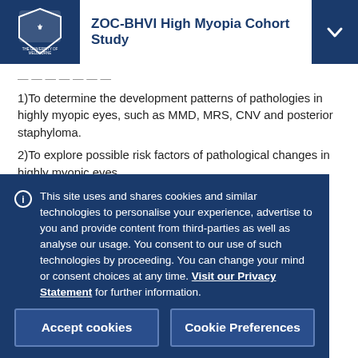ZOC-BHVI High Myopia Cohort Study
1)To determine the development patterns of pathologies in highly myopic eyes, such as MMD, MRS, CNV and posterior staphyloma.
2)To explore possible risk factors of pathological changes in highly myopic eyes.
3)To identify the risk of developing pathologies in
This site uses and shares cookies and similar technologies to personalise your experience, advertise to you and provide content from third-parties as well as analyse our usage. You consent to our use of such technologies by proceeding. You can change your mind or consent choices at any time. Visit our Privacy Statement for further information.
Accept cookies
Cookie Preferences